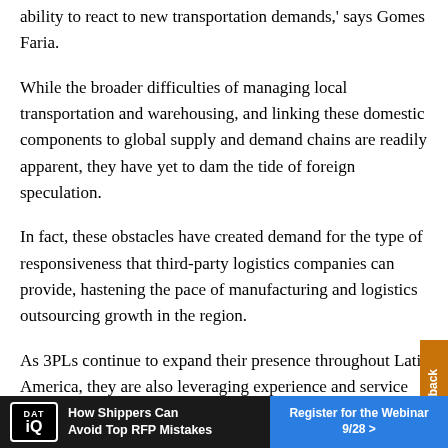ability to react to new transportation demands,' says Gomes Faria.
While the broader difficulties of managing local transportation and warehousing, and linking these domestic components to global supply and demand chains are readily apparent, they have yet to dam the tide of foreign speculation.
In fact, these obstacles have created demand for the type of responsiveness that third-party logistics companies can provide, hastening the pace of manufacturing and logistics outsourcing growth in the region.
As 3PLs continue to expand their presence throughout Latin America, they are also leveraging experience and service capabilities to attract U.S. and foreign
[Figure (other): Orange vertical sidebar tab with text 'FAQs & Feedback' rotated 90 degrees]
[Figure (other): DAT iQ advertisement banner: 'How Shippers Can Avoid Top RFP Mistakes' with 'Register for the Webinar 9/28 >' button on blue background]